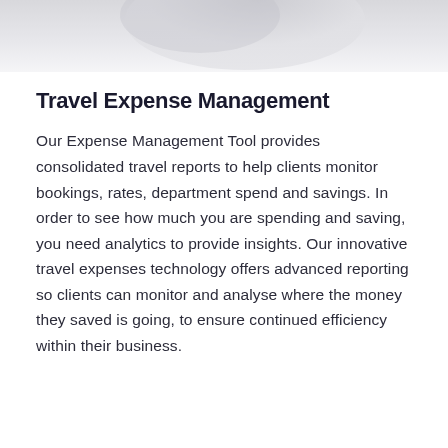[Figure (photo): Partial decorative image at top of page, showing a light grey/white blurred background with a faint silhouette]
Travel Expense Management
Our Expense Management Tool provides consolidated travel reports to help clients monitor bookings, rates, department spend and savings. In order to see how much you are spending and saving, you need analytics to provide insights. Our innovative travel expenses technology offers advanced reporting so clients can monitor and analyse where the money they saved is going, to ensure continued efficiency within their business.